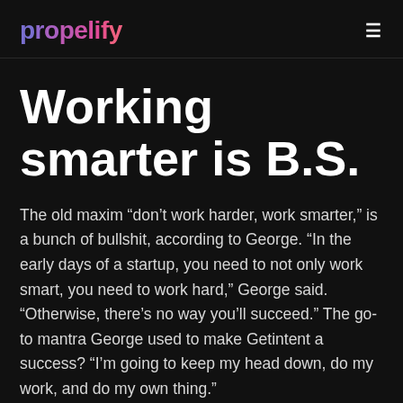propelify
Working smarter is B.S.
The old maxim “don’t work harder, work smarter,” is a bunch of bullshit, according to George. “In the early days of a startup, you need to not only work smart, you need to work hard,” George said. “Otherwise, there’s no way you’ll succeed.” The go-to mantra George used to make Getintent a success? “I’m going to keep my head down, do my work, and do my own thing.”